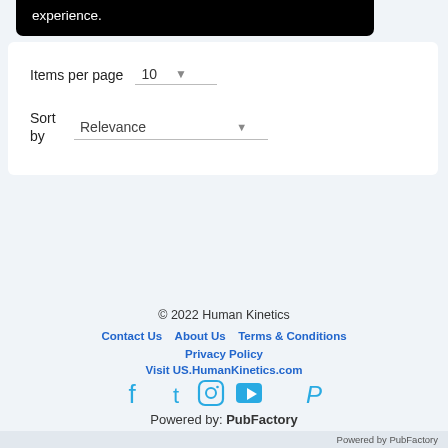experience.
Items per page 10
Sort by Relevance
© 2022 Human Kinetics
Contact Us   About Us   Terms & Conditions
Privacy Policy
Visit US.HumanKinetics.com
[Figure (other): Social media icons: Facebook, Twitter, Instagram, YouTube, Pinterest]
Powered by: PubFactory
Powered by PubFactory